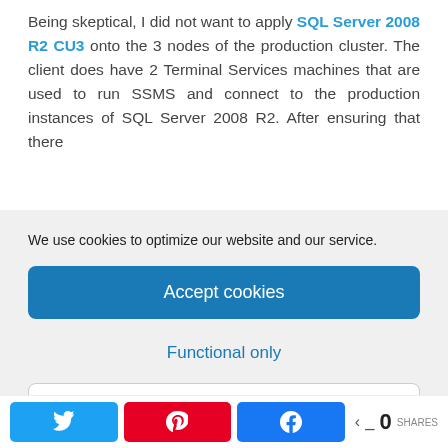Being skeptical, I did not want to apply SQL Server 2008 R2 CU3 onto the 3 nodes of the production cluster. The client does have 2 Terminal Services machines that are used to run SSMS and connect to the production instances of SQL Server 2008 R2. After ensuring that there
We use cookies to optimize our website and our service.
Accept cookies
Functional only
View preferences